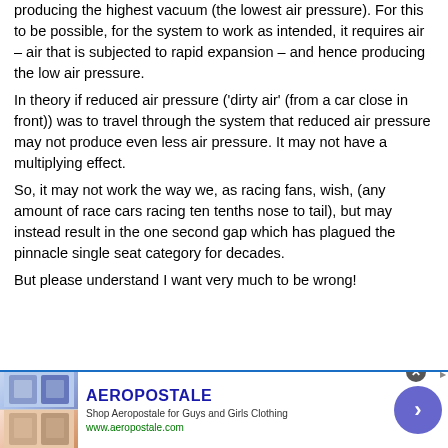producing the highest vacuum (the lowest air pressure). For this to be possible, for the system to work as intended, it requires air – air that is subjected to rapid expansion – and hence producing the low air pressure.
In theory if reduced air pressure ('dirty air' (from a car close in front)) was to travel through the system that reduced air pressure may not produce even less air pressure. It may not have a multiplying effect.
So, it may not work the way we, as racing fans, wish, (any amount of race cars racing ten tenths nose to tail), but may instead result in the one second gap which has plagued the pinnacle single seat category for decades.
But please understand I want very much to be wrong!
[Figure (infographic): Aeropostale advertisement banner with clothing images, brand name, shop tagline, website URL, and a purple arrow button]